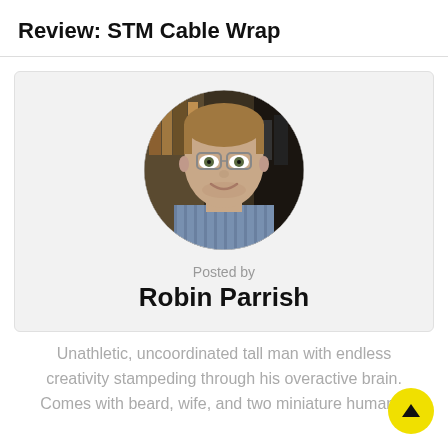Review: STM Cable Wrap
[Figure (photo): Circular profile photo of Robin Parrish, a man with glasses and light brown hair wearing a striped shirt, smiling, with bookshelves in the background.]
Posted by
Robin Parrish
Unathletic, uncoordinated tall man with endless creativity stampeding through his overactive brain. Comes with beard, wife, and two miniature humans.